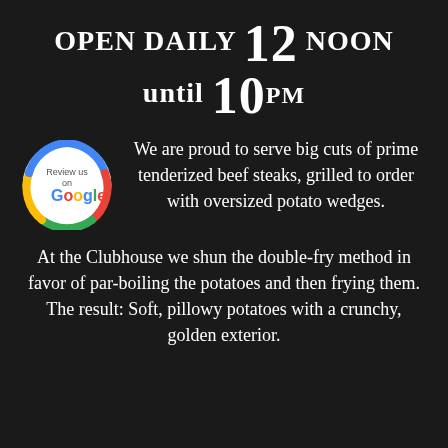OPEN DAILY 12 NOON until 10PM
[Figure (logo): Review us on Google circular badge with Google logo colors]
We are proud to serve big cuts of prime tenderized beef steaks, grilled to order with oversized potato wedges.
At the Clubhouse we shun the double-fry method in favor of par-boiling the potatoes and then frying them. The result: Soft, pillowy potatoes with a crunchy, golden exterior.